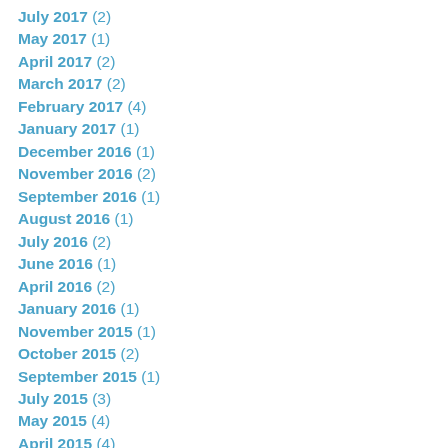July 2017 (2)
May 2017 (1)
April 2017 (2)
March 2017 (2)
February 2017 (4)
January 2017 (1)
December 2016 (1)
November 2016 (2)
September 2016 (1)
August 2016 (1)
July 2016 (2)
June 2016 (1)
April 2016 (2)
January 2016 (1)
November 2015 (1)
October 2015 (2)
September 2015 (1)
July 2015 (3)
May 2015 (4)
April 2015 (4)